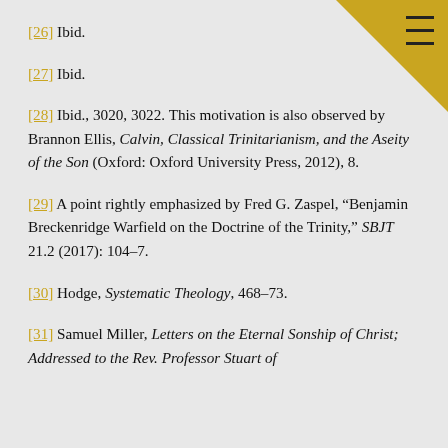[26] Ibid.
[27] Ibid.
[28] Ibid., 3020, 3022. This motivation is also observed by Brannon Ellis, Calvin, Classical Trinitarianism, and the Aseity of the Son (Oxford: Oxford University Press, 2012), 8.
[29] A point rightly emphasized by Fred G. Zaspel, “Benjamin Breckenridge Warfield on the Doctrine of the Trinity,” SBJT 21.2 (2017): 104–7.
[30] Hodge, Systematic Theology, 468–73.
[31] Samuel Miller, Letters on the Eternal Sonship of Christ; Addressed to the Rev. Professor Stuart of